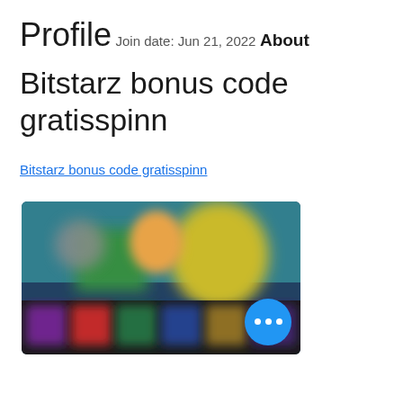Profile
Join date: Jun 21, 2022
About
Bitstarz bonus code gratisspinn
Bitstarz bonus code gratisspinn
[Figure (screenshot): Blurred screenshot of a gaming or streaming website showing colorful characters and a floating action button with three dots]